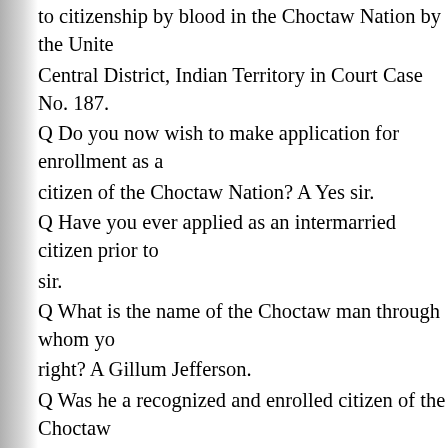to citizenship by blood in the Choctaw Nation by the United States Central District, Indian Territory in Court Case No. 187. Q Do you now wish to make application for enrollment as a citizen of the Choctaw Nation? A Yes sir. Q Have you ever applied as an intermarried citizen prior to sir. Q What is the name of the Choctaw man through whom you right? A Gillum Jefferson. Q Was he a recognized and enrolled citizen of the Choctaw sir he was. Q Were his rights as such ever disputed? A No sir, because a full blood. Q When were you married to this man? A Seventeen years February. (Estimated date of marriage=1885 Actual date=1 Q Where was the marriage ceremony performed? A At Ca Q In the Choctaw Nation? A Yes sir. Q At that time were both you and your husband bona fide Choctaw Nation? A Yes sir. Q Who performed the marriage ceremony? A Holston Ja Q A minister of the gospel? A Yes sir.